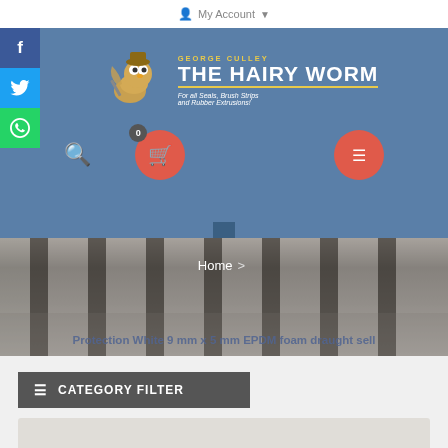My Account
[Figure (logo): George Culley The Hairy Worm logo with cartoon worm character holding tools. Text: GEORGE CULLEY / THE HAIRY WORM / For all Seals, Brush Strips and Rubber Extrusions!]
[Figure (photo): Close-up photo of brush strips/seals showing dark bristles arranged in rows, blurred background]
Home > Protection White 9 mm x 5 mm EPDM foam draught sell
≡ CATEGORY FILTER
[Figure (photo): Partially visible product image at bottom of page]